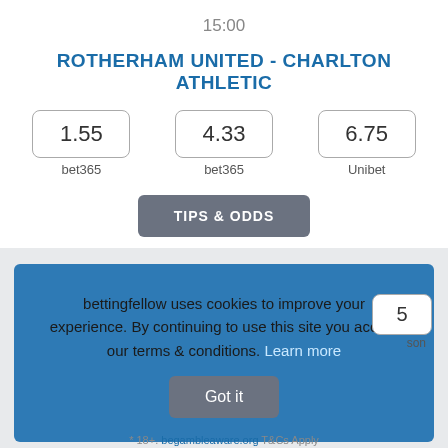15:00
ROTHERHAM UNITED - CHARLTON ATHLETIC
1.55
bet365
4.33
bet365
6.75
Unibet
TIPS & ODDS
bettingfellow uses cookies to improve your experience. By continuing to use this site you accept our terms & conditions. Learn more
Got it
* 18+. begambleaware.org T&Cs Apply